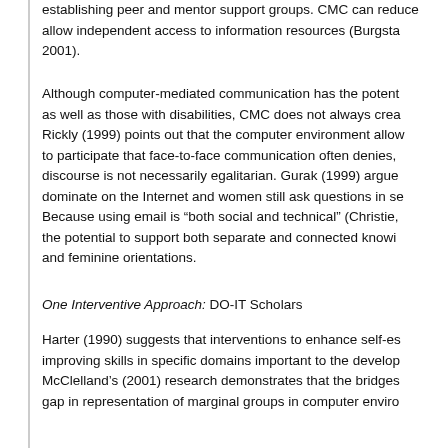establishing peer and mentor support groups. CMC can reduce allow independent access to information resources (Burgsta 2001).
Although computer-mediated communication has the potent as well as those with disabilities, CMC does not always crea Rickly (1999) points out that the computer environment allow to participate that face-to-face communication often denies, discourse is not necessarily egalitarian. Gurak (1999) argue dominate on the Internet and women still ask questions in se Because using email is "both social and technical" (Christie, the potential to support both separate and connected knowin and feminine orientations.
One Interventive Approach: DO-IT Scholars
Harter (1990) suggests that interventions to enhance self-es improving skills in specific domains important to the develop McClelland's (2001) research demonstrates that the bridges gap in representation of marginal groups in computer enviro